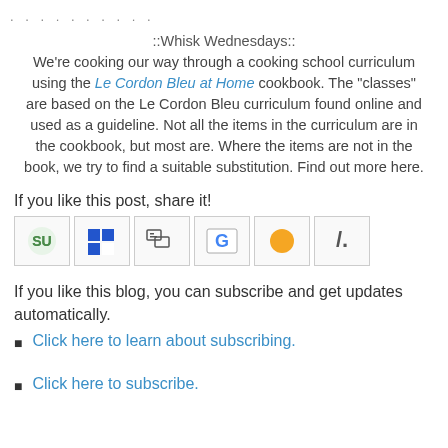. . . . . . . . . .
::Whisk Wednesdays::
We're cooking our way through a cooking school curriculum using the Le Cordon Bleu at Home cookbook. The "classes" are based on the Le Cordon Bleu curriculum found online and used as a guideline. Not all the items in the curriculum are in the cookbook, but most are. Where the items are not in the book, we try to find a suitable substitution. Find out more here.
If you like this post, share it!
[Figure (infographic): Row of social sharing icon buttons: StumbleUpon, Delicious, co.mments, Google, something orange circle, and a slash/metrics icon]
If you like this blog, you can subscribe and get updates automatically.
Click here to learn about subscribing.
Click here to subscribe.